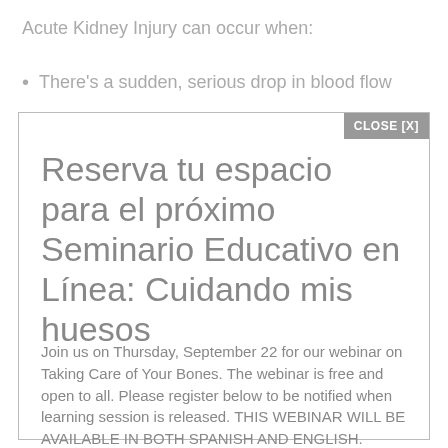Acute Kidney Injury can occur when:
There's a sudden, serious drop in blood flow
Reserva tu espacio para el próximo Seminario Educativo en Línea: Cuidando mis huesos
Join us on Thursday, September 22 for our webinar on Taking Care of Your Bones. The webinar is free and open to all. Please register below to be notified when learning session is released. THIS WEBINAR WILL BE AVAILABLE IN BOTH SPANISH AND ENGLISH.